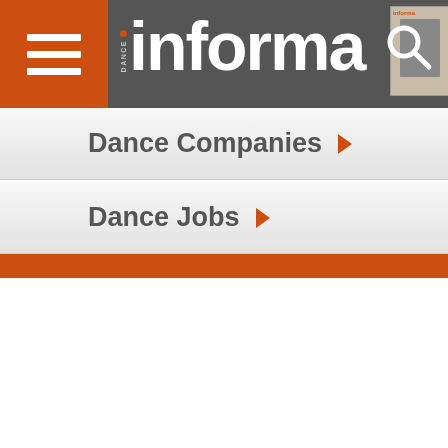Dance Informa - navigation menu header with hamburger button, logo, magazine cover thumbnail, and search icon
Dance Companies ▶
Dance Jobs ▶